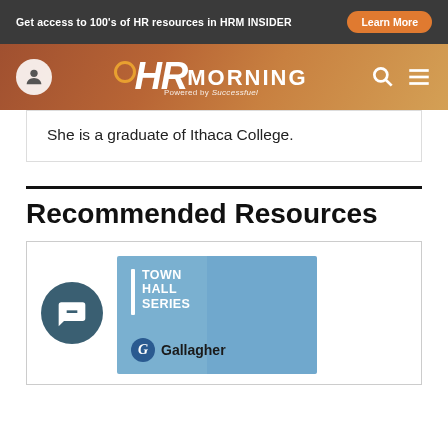Get access to 100's of HR resources in HRM INSIDER  Learn More
[Figure (logo): HR Morning logo with user icon, search icon, and hamburger menu on gradient brown/orange nav bar]
She is a graduate of Ithaca College.
Recommended Resources
[Figure (illustration): Resource card with chat icon and Town Hall Series by Gallagher promotional image]